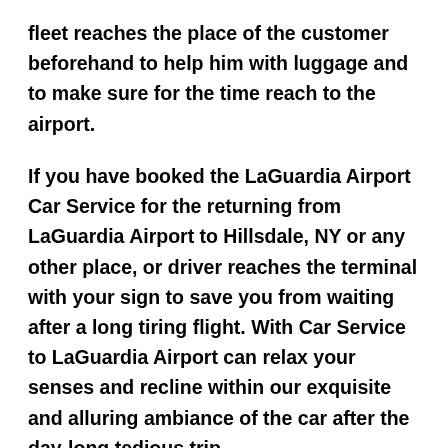fleet reaches the place of the customer beforehand to help him with luggage and to make sure for the time reach to the airport.
If you have booked the LaGuardia Airport Car Service for the returning from LaGuardia Airport to Hillsdale, NY or any other place, or driver reaches the terminal with your sign to save you from waiting after a long tiring flight. With Car Service to LaGuardia Airport can relax your senses and recline within our exquisite and alluring ambiance of the car after the day-long tedious trip.
If you are coming to Hillsdale, NY to attend the corporate meetings or business transactions, we at LaGuardia Car Service yield you the most